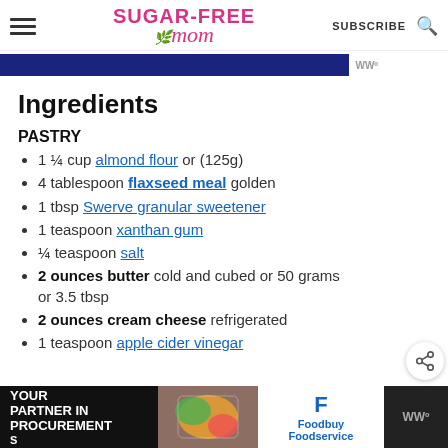SUGAR-FREE MOM | SUBSCRIBE
[Figure (screenshot): Blue navigation bar with WW logo]
Ingredients
PASTRY
1 ¼ cup almond flour or (125g)
4 tablespoon flaxseed meal golden
1 tbsp Swerve granular sweetener
1 teaspoon xanthan gum
¼ teaspoon salt
2 ounces butter cold and cubed or 50 grams or 3.5 tbsp
2 ounces cream cheese refrigerated
1 teaspoon apple cider vinegar
[Figure (screenshot): Foodbuy Foodservice advertisement banner at bottom of page]